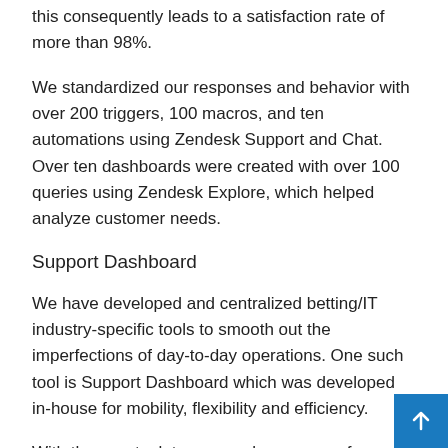this consequently leads to a satisfaction rate of more than 98%.
We standardized our responses and behavior with over 200 triggers, 100 macros, and ten automations using Zendesk Support and Chat. Over ten dashboards were created with over 100 queries using Zendesk Explore, which helped analyze customer needs.
Support Dashboard
We have developed and centralized betting/IT industry-specific tools to smooth out the imperfections of day-to-day operations. One such tool is Support Dashboard which was developed in-house for mobility, flexibility and efficiency.
With the new tool, team members can perform daily operations in seconds. Various NSoft development teams have been involved in providing appropriate tools for different support actions such as bet slip cancellations, payment confirmation, ticket resolutions, ticket checks, checks on the delivery of t